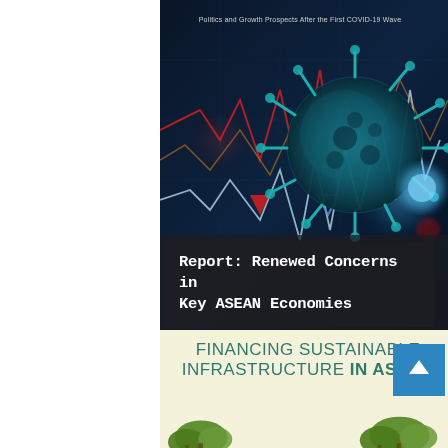[Figure (illustration): Dark themed cover image showing a 3D COVID-19 virus particle with spike proteins against a financial market chart background featuring red and white line charts and red/blue downward triangle markers. Dark navy/teal color scheme.]
Politics and Growth Prospects After the First COVID-19 Wave
Report: Renewed Concerns in Key ASEAN Economies
FINANCING SUSTAINABLE INFRASTRUCTURE IN ASEAN
[Figure (illustration): Green tree silhouettes at the bottom of a cream-colored background section]